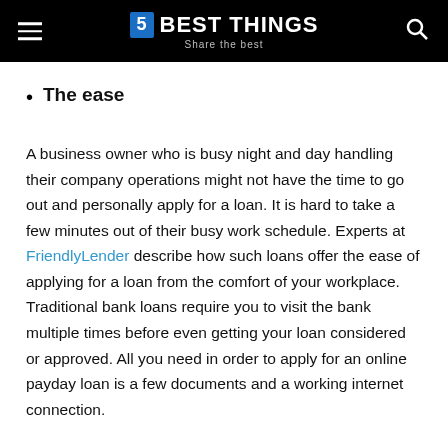5 BEST THINGS — Share the best
The ease
A business owner who is busy night and day handling their company operations might not have the time to go out and personally apply for a loan. It is hard to take a few minutes out of their busy work schedule. Experts at FriendlyLender describe how such loans offer the ease of applying for a loan from the comfort of your workplace. Traditional bank loans require you to visit the bank multiple times before even getting your loan considered or approved. All you need in order to apply for an online payday loan is a few documents and a working internet connection.